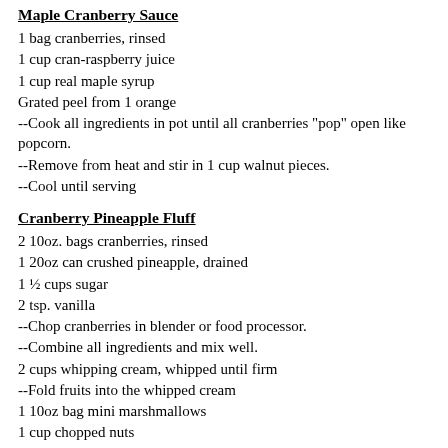Maple Cranberry Sauce
1 bag cranberries, rinsed
1 cup cran-raspberry juice
1 cup real maple syrup
Grated peel from 1 orange
--Cook all ingredients in pot until all cranberries "pop" open like popcorn.
--Remove from heat and stir in 1 cup walnut pieces.
--Cool until serving
Cranberry Pineapple Fluff
2 10oz. bags cranberries, rinsed
1 20oz can crushed pineapple, drained
1 ½ cups sugar
2 tsp. vanilla
--Chop cranberries in blender or food processor.
--Combine all ingredients and mix well.
2 cups whipping cream, whipped until firm
--Fold fruits into the whipped cream
1 10oz bag mini marshmallows
1 cup chopped nuts